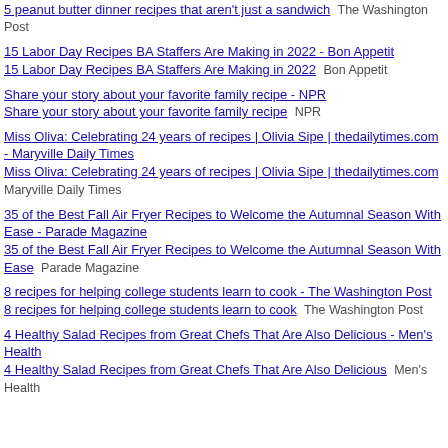5 peanut butter dinner recipes that aren't just a sandwich  The Washington Post
15 Labor Day Recipes BA Staffers Are Making in 2022 - Bon Appetit
15 Labor Day Recipes BA Staffers Are Making in 2022  Bon Appetit
Share your story about your favorite family recipe - NPR
Share your story about your favorite family recipe  NPR
Miss Oliva: Celebrating 24 years of recipes | Olivia Sipe | thedailytimes.com - Maryville Daily Times
Miss Oliva: Celebrating 24 years of recipes | Olivia Sipe | thedailytimes.com  Maryville Daily Times
35 of the Best Fall Air Fryer Recipes to Welcome the Autumnal Season With Ease - Parade Magazine
35 of the Best Fall Air Fryer Recipes to Welcome the Autumnal Season With Ease  Parade Magazine
8 recipes for helping college students learn to cook - The Washington Post
8 recipes for helping college students learn to cook  The Washington Post
4 Healthy Salad Recipes from Great Chefs That Are Also Delicious - Men's Health
4 Healthy Salad Recipes from Great Chefs That Are Also Delicious  Men's Health